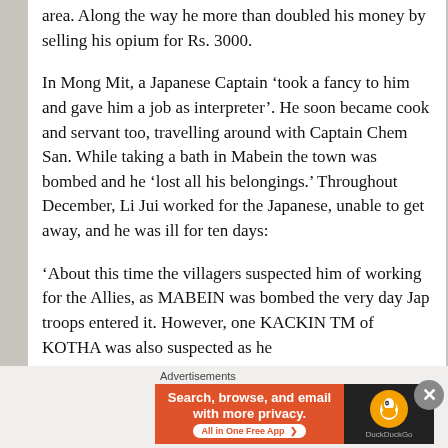area.  Along the way he more than doubled his money by selling his opium for Rs. 3000.
In Mong Mit, a Japanese Captain ‘took a fancy to him and gave him a job as interpreter’.  He soon became cook and servant too, travelling around with Captain Chem San.  While taking a bath in Mabein the town was bombed and he ‘lost all his belongings.’  Throughout December, Li Jui worked for the Japanese, unable to get away, and he was ill for ten days:
‘About this time the villagers suspected him of working for the Allies, as MABEIN was bombed the very day Jap troops entered it.  However, one KACKIN TM of KOTHA was also suspected as he
Advertisements
[Figure (screenshot): DuckDuckGo advertisement banner: orange left panel with text 'Search, browse, and email with more privacy. All in One Free App', dark right panel with DuckDuckGo logo]